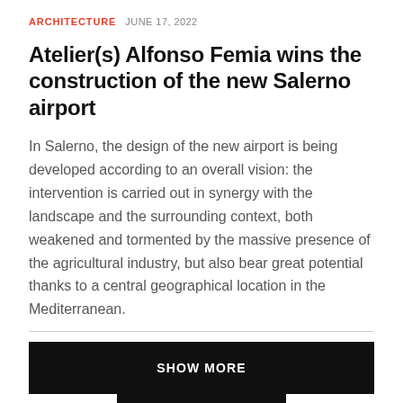ARCHITECTURE   JUNE 17, 2022
Atelier(s) Alfonso Femia wins the construction of the new Salerno airport
In Salerno, the design of the new airport is being developed according to an overall vision: the intervention is carried out in synergy with the landscape and the surrounding context, both weakened and tormented by the massive presence of the agricultural industry, but also bear great potential thanks to a central geographical location in the Mediterranean.
SHOW MORE